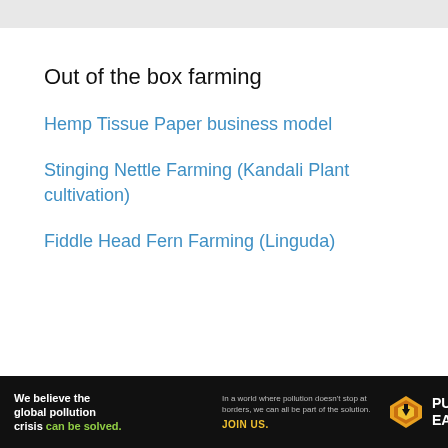Out of the box farming
Hemp Tissue Paper business model
Stinging Nettle Farming (Kandali Plant cultivation)
Fiddle Head Fern Farming (Linguda)
[Figure (infographic): Pure Earth advertisement banner: black background, text 'We believe the global pollution crisis can be solved.' with green 'can be solved.', middle column text 'In a world where pollution doesn't stop at borders, we can all be part of the solution.' and 'JOIN US.' in yellow, right side shows Pure Earth logo with diamond icon and 'PURE EARTH' in white text.]